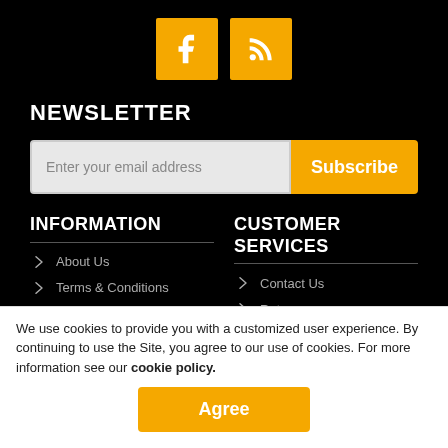[Figure (logo): Facebook and RSS social media icons in orange/yellow squares]
NEWSLETTER
Enter your email address [Subscribe button]
INFORMATION
CUSTOMER SERVICES
About Us
Terms & Conditions
Contact Us
Returns
We use cookies to provide you with a customized user experience. By continuing to use the Site, you agree to our use of cookies. For more information see our cookie policy.
Agree